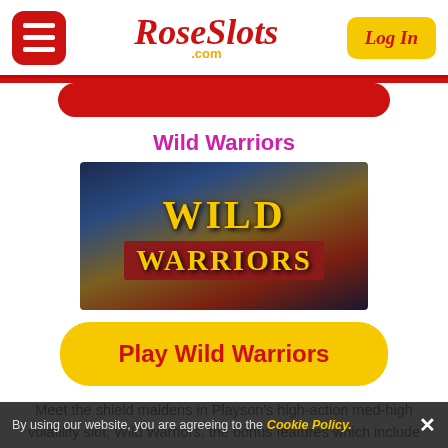RoseSlots.com — Log In
Wild Warriors
[Figure (screenshot): Wild Warriors slot game logo on dark background with golden text WILD WARRIORS]
Play Wild Warriors
Meet the shield maidens in Playson's high-action med-high volatility slot, Wild Warriors, the bonus features which include free spins, 3 x 3 giant symbols, stacked symbols and wild symbols will make sure that the action is pretty
By using our website, you are agreeing to the Cookie Policy. ✕